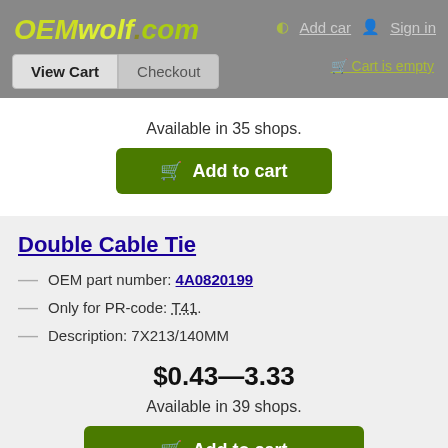OEMwolf.com — Add car | Sign in | View Cart | Checkout | Cart is empty
Available in 35 shops.
Add to cart
Double Cable Tie
OEM part number: 4A0820199
Only for PR-code: T41.
Description: 7X213/140MM
$0.43—3.33
Available in 39 shops.
Add to cart